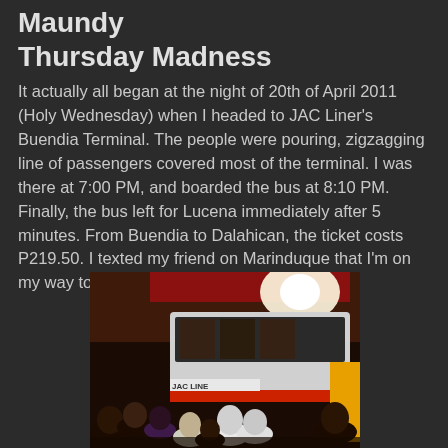Viaje Marinduque | Maundy Thursday Madness
It actually all began at the night of 20th of April 2011 (Holy Wednesday) when I headed to JAC Liner's Buendia Terminal. The people were pouring, zigzagging line of passengers covered most of the terminal. I was there at 7:00 PM, and boarded the bus at 8:10 PM. Finally, the bus left for Lucena immediately after 5 minutes. From Buendia to Dalahican, the ticket costs P219.50. I texted my friend on Marinduque that I'm on my way to their house.
[Figure (photo): A crowded bus terminal at night showing a JAC Liner bus surrounded by many passengers. The scene is lit with artificial lighting, showing people queuing and standing around the bus.]